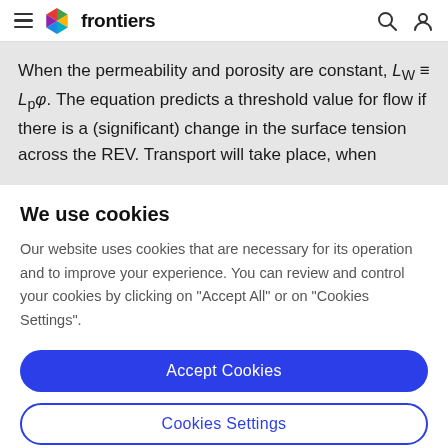frontiers
When the permeability and porosity are constant, L_W ≡ L_p φ. The equation predicts a threshold value for flow if there is a (significant) change in the surface tension across the REV. Transport will take place, when
We use cookies
Our website uses cookies that are necessary for its operation and to improve your experience. You can review and control your cookies by clicking on "Accept All" or on "Cookies Settings".
Accept Cookies
Cookies Settings